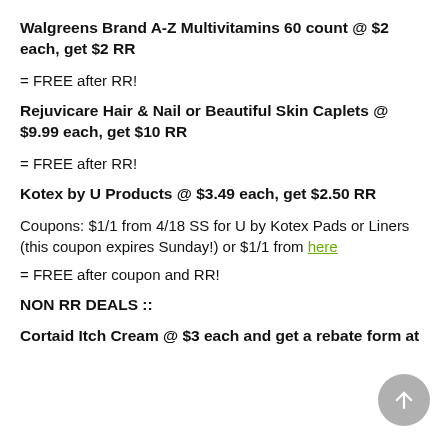Walgreens Brand A-Z Multivitamins 60 count @ $2 each, get $2 RR
= FREE after RR!
Rejuvicare Hair & Nail or Beautiful Skin Caplets @ $9.99 each, get $10 RR
= FREE after RR!
Kotex by U Products @ $3.49 each, get $2.50 RR
Coupons: $1/1 from 4/18 SS for U by Kotex Pads or Liners (this coupon expires Sunday!) or $1/1 from here
= FREE after coupon and RR!
NON RR DEALS ::
Cortaid Itch Cream @ $3 each and get a rebate form at